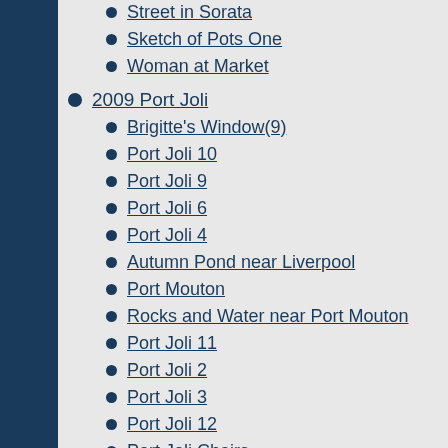Street in Sorata
Sketch of Pots One
Woman at Market
2009 Port Joli
Brigitte's Window(9)
Port Joli 10
Port Joli 9
Port Joli 6
Port Joli 4
Autumn Pond near Liverpool
Port Mouton
Rocks and Water near Port Mouton
Port Joli 11
Port Joli 2
Port Joli 3
Port Joli 12
Port Joli Chairs
2009 Water Colours and Oils
Flowers